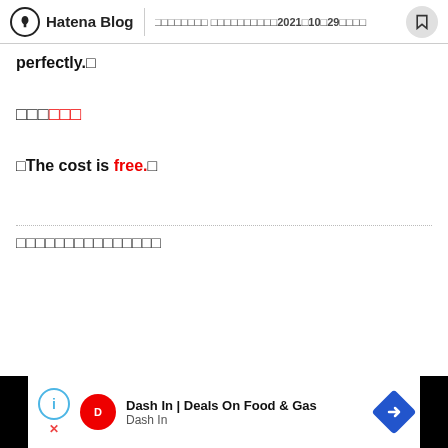Hatena Blog | □□□□□□□□ □□□□□□□□□□2021□10□29□□□□
perfectly.□
□□□□□□
□The cost is free.□
□□□□□□□□□□□□□□□
[Figure (other): Advertisement banner: Dash In | Deals On Food & Gas, Dash In logo]